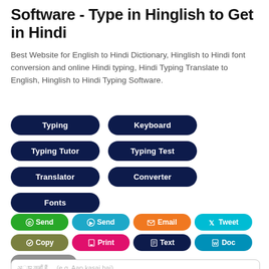Software - Type in Hinglish to Get in Hindi
Best Website for English to Hindi Dictionary, Hinglish to Hindi font conversion and online Hindi typing, Hindi Typing Translate to English, Hinglish to Hindi Typing Software.
Typing
Keyboard
Typing Tutor
Typing Test
Translator
Converter
Fonts
Send (WhatsApp)
Send (Telegram)
Email
Tweet
Copy
Print
Text
Doc
Clear All
xxxx xxxx xxxx   (e.g. Aap kasai hai)